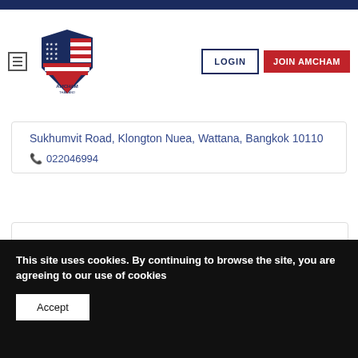[Figure (logo): AMCHAM Thailand logo — American flag shield design with stars and stripes, text AMCHAM THAILAND below]
LOGIN
JOIN AMCHAM
Sukhumvit Road, Klongton Nuea, Wattana, Bangkok 10110
022046994
[Figure (logo): JLL logo — red stylized globe/sphere icon followed by JLL text in red]
This site uses cookies. By continuing to browse the site, you are agreeing to our use of cookies
Accept